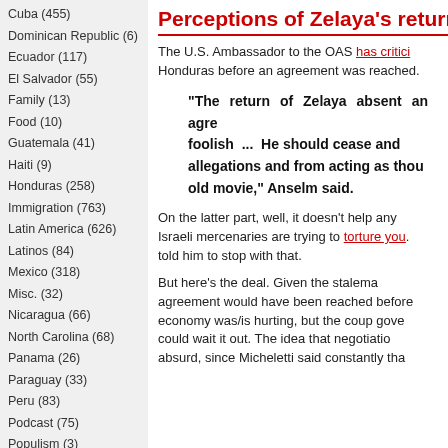Cuba (455)
Dominican Republic (6)
Ecuador (117)
El Salvador (55)
Family (13)
Food (10)
Guatemala (41)
Haiti (9)
Honduras (258)
Immigration (763)
Latin America (626)
Latinos (84)
Mexico (318)
Misc. (32)
Nicaragua (66)
North Carolina (68)
Panama (26)
Paraguay (33)
Peru (83)
Podcast (75)
Populism (3)
Puerto Rico (2)
Running (48)
Perceptions of Zelaya's return
The U.S. Ambassador to the OAS has criticized Honduras before an agreement was reached.
"The return of Zelaya absent an agreement would be foolish ... He should cease and desist from the allegations and from acting as though he is in some old movie," Anselm said.
On the latter part, well, it doesn't help any that Israeli mercenaries are trying to torture you. Someone told him to stop with that.
But here's the deal. Given the stalemate, an agreement would have been reached before now. The economy was/is hurting, but the coup government could wait it out. The idea that negotiations were absurd, since Micheletti said constantly that